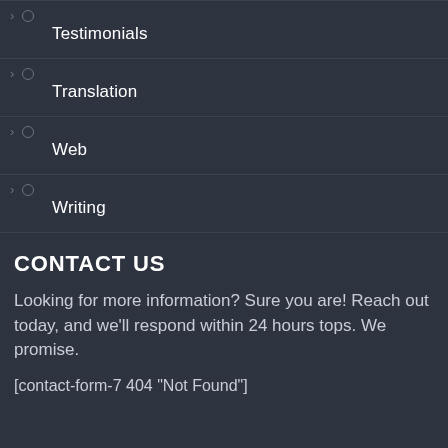Testimonials
Translation
Web
Writing
CONTACT US
Looking for more information? Sure you are! Reach out today, and we'll respond within 24 hours tops. We promise.
[contact-form-7 404 "Not Found"]